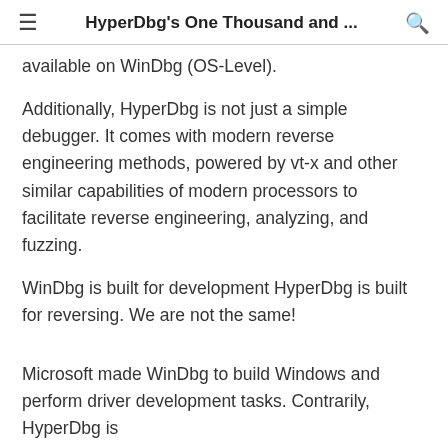≡  HyperDbg's One Thousand and ...  🔍
available on WinDbg (OS-Level).
Additionally, HyperDbg is not just a simple debugger. It comes with modern reverse engineering methods, powered by vt-x and other similar capabilities of modern processors to facilitate reverse engineering, analyzing, and fuzzing.
WinDbg is built for development HyperDbg is built for reversing. We are not the same!
Microsoft made WinDbg to build Windows and perform driver development tasks. Contrarily, HyperDbg is